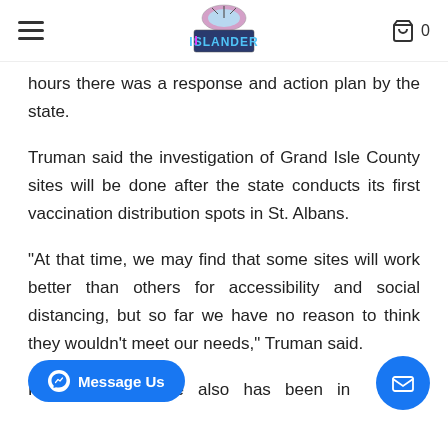The Islander — navigation header with logo, hamburger menu, and cart
hours there was a response and action plan by the state.
Truman said the investigation of Grand Isle County sites will be done after the state conducts its first vaccination distribution spots in St. Albans.
"At that time, we may find that some sites will work better than others for accessibility and social distancing, but so far we have no reason to think they wouldn't meet our needs," Truman said.
He said the state also has been in